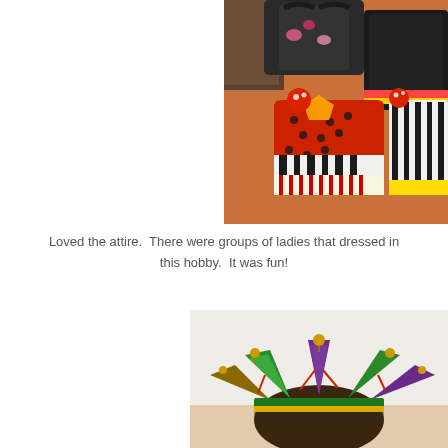[Figure (photo): Colorful handbags and purses with decorative fabric patterns (polka dots, zebra stripes, red and yellow) displayed on an orange/red carpeted floor near a dark chair.]
Loved the attire.  There were groups of ladies that dressed in this hobby.  It was fun!
[Figure (photo): A person wearing a colorful jester/Mardi Gras hat with purple, green, and gold points and small bells.]